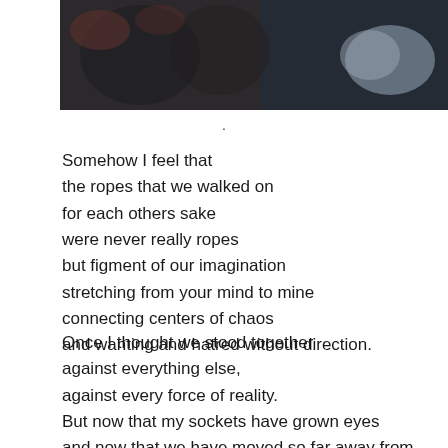[Figure (photo): Dark blurred photograph showing indistinct figures or objects with bokeh light effects in blue and warm tones]
.
Somehow I feel that
the ropes that we walked on
for each others sake
were never really ropes
but figment of our imagination
stretching from your mind to mine
connecting centers of chaos
and wanting and hatred without direction.
Once I thought we stood together
against everything else,
against every force of reality.
But now that my sockets have grown eyes
and now that we have moved so far away from